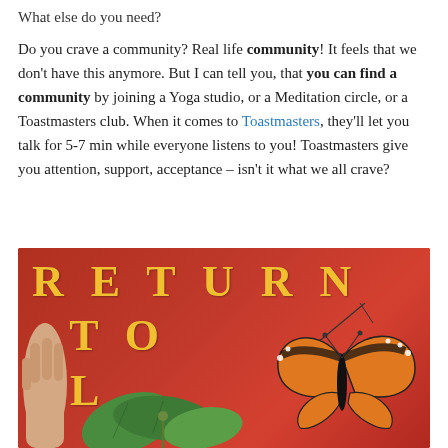What else do you need?
Do you crave a community? Real life community! It feels that we don't have this anymore. But I can tell you, that you can find a community by joining a Yoga studio, or a Meditation circle, or a Toastmasters club. When it comes to Toastmasters, they'll let you talk for 5-7 min while everyone listens to you! Toastmasters give you attention, support, acceptance – isn't it what we all crave?
[Figure (photo): Photo of a red book with yellow/gold letters spelling RETURN TO L (partially visible), with a monarch butterfly resting on green leaves in the foreground, and a hand holding the book on the left.]